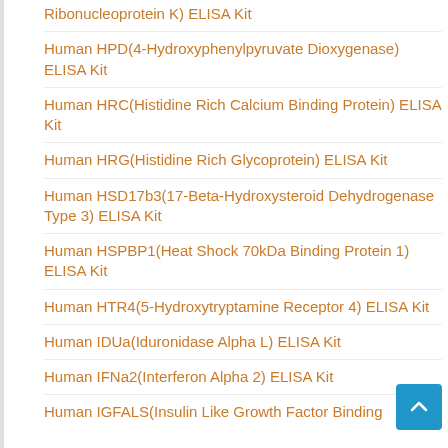Ribonucleoprotein K) ELISA Kit
Human HPD(4-Hydroxyphenylpyruvate Dioxygenase) ELISA Kit
Human HRC(Histidine Rich Calcium Binding Protein) ELISA Kit
Human HRG(Histidine Rich Glycoprotein) ELISA Kit
Human HSD17b3(17-Beta-Hydroxysteroid Dehydrogenase Type 3) ELISA Kit
Human HSPBP1(Heat Shock 70kDa Binding Protein 1) ELISA Kit
Human HTR4(5-Hydroxytryptamine Receptor 4) ELISA Kit
Human IDUa(Iduronidase Alpha L) ELISA Kit
Human IFNa2(Interferon Alpha 2) ELISA Kit
Human IGFALS(Insulin Like Growth Factor Binding